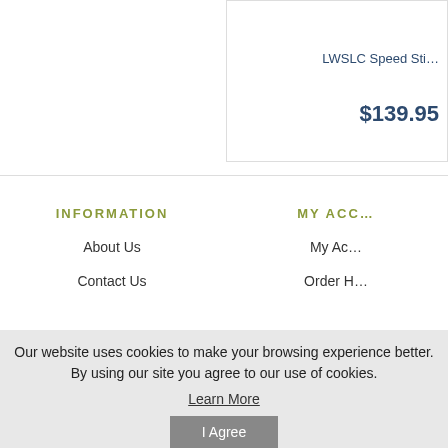LWSLC Speed Sti...
$139.95
INFORMATION
About Us
Contact Us
MY ACCO...
My Ac...
Order H...
Our website uses cookies to make your browsing experience better. By using our site you agree to our use of cookies.
Learn More
I Agree